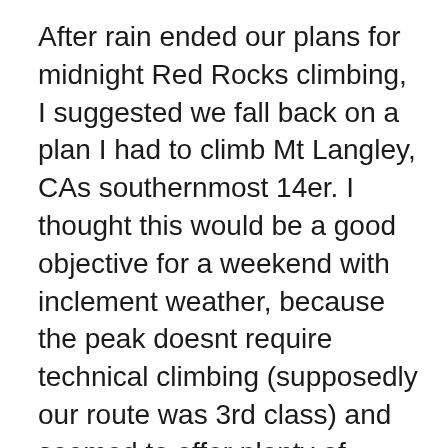After rain ended our plans for midnight Red Rocks climbing, I suggested we fall back on a plan I had to climb Mt Langley, CAs southernmost 14er. I thought this would be a good objective for a weekend with inclement weather, because the peak doesnt require technical climbing (supposedly our route was 3rd class) and seemed to offer plenty of available variations once we were up high.
Dustin and I drove up to Lone Pine Friday night to try to get at least a few thousand feet of elevation to help acclimate. We ended up getting a text from Amaury that he and his girlfriend Melissa were staying at the Tuttle